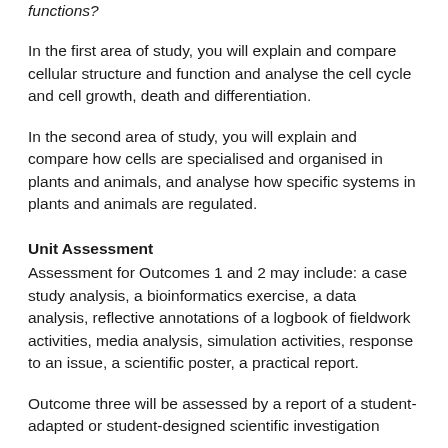functions?
In the first area of study, you will explain and compare cellular structure and function and analyse the cell cycle and cell growth, death and differentiation.
In the second area of study, you will explain and compare how cells are specialised and organised in plants and animals, and analyse how specific systems in plants and animals are regulated.
Unit Assessment
Assessment for Outcomes 1 and 2 may include: a case study analysis, a bioinformatics exercise, a data analysis, reflective annotations of a logbook of fieldwork activities, media analysis, simulation activities, response to an issue, a scientific poster, a practical report.
Outcome three will be assessed by a report of a student-adapted or student-designed scientific investigation